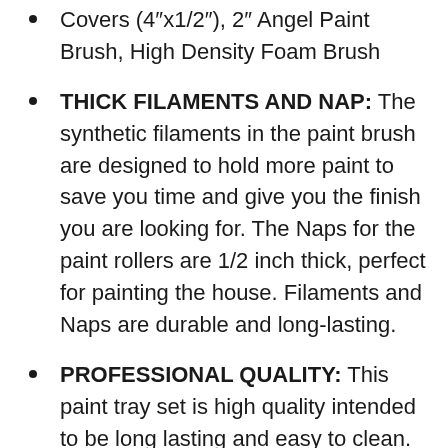Covers (4″x1/2″), 2″ Angel Paint Brush, High Density Foam Brush
THICK FILAMENTS AND NAP: The synthetic filaments in the paint brush are designed to hold more paint to save you time and give you the finish you are looking for. The Naps for the paint rollers are 1/2 inch thick, perfect for painting the house. Filaments and Naps are durable and long-lasting.
PROFESSIONAL QUALITY: This paint tray set is high quality intended to be long lasting and easy to clean. Exceptional ability to get the job done quickly with a superior finish.
Additional Info: